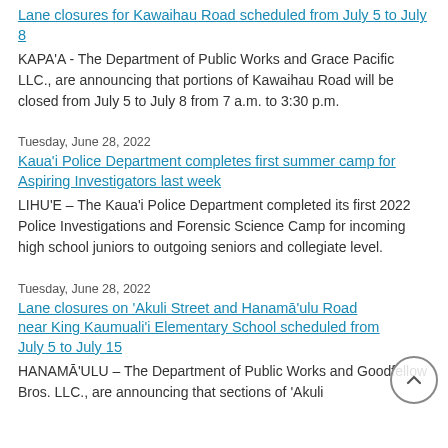Lane closures for Kawaihau Road scheduled from July 5 to July 8
KAPAʻA - The Department of Public Works and Grace Pacific LLC., are announcing that portions of Kawaihau Road will be closed from July 5 to July 8 from 7 a.m. to 3:30 p.m.
Tuesday, June 28, 2022
Kauaʻi Police Department completes first summer camp for Aspiring Investigators last week
LIHUʻE – The Kauaʻi Police Department completed its first 2022 Police Investigations and Forensic Science Camp for incoming high school juniors to outgoing seniors and collegiate level.
Tuesday, June 28, 2022
Lane closures on ʻAkuli Street and Hanamāʻulu Road near King Kaumualiʻi Elementary School scheduled from July 5 to July 15
HANAMĀʻULU – The Department of Public Works and Goodfellow Bros. LLC., are announcing that sections of ʻAkuli